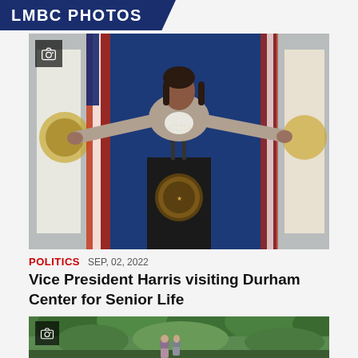LMBC PHOTOS
[Figure (photo): Vice President Kamala Harris speaking at a podium with the Presidential seal, arms outstretched, in front of multiple American flags and other flags, against a blue background.]
POLITICS   SEP, 02, 2022
Vice President Harris visiting Durham Center for Senior Life
[Figure (photo): Two people walking in a lush green wooded outdoor area.]